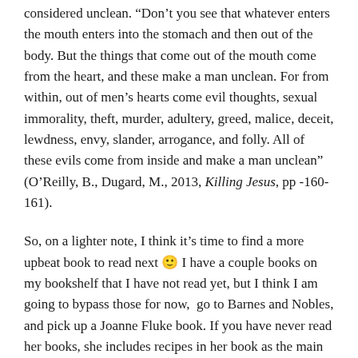considered unclean. “Don’t you see that whatever enters the mouth enters into the stomach and then out of the body. But the things that come out of the mouth come from the heart, and these make a man unclean. For from within, out of men’s hearts come evil thoughts, sexual immorality, theft, murder, adultery, greed, malice, deceit, lewdness, envy, slander, arrogance, and folly. All of these evils come from inside and make a man unclean” (O’Reilly, B., Dugard, M., 2013, Killing Jesus, pp -160-161).
So, on a lighter note, I think it’s time to find a more upbeat book to read next 🙂 I have a couple books on my bookshelf that I have not read yet, but I think I am going to bypass those for now,  go to Barnes and Nobles, and pick up a Joanne Fluke book. If you have never read her books, she includes recipes in her book as the main character runs a bakery. After reading several of her books, I think it’s time to try out some of those recipes!